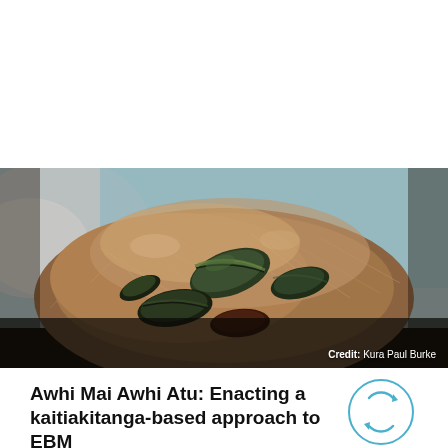[Figure (photo): Close-up photograph of green-lipped mussels clustered on rocky substrate with fibrous material, with soft blurred teal background. Credit: Kura Paul Burke]
Credit: Kura Paul Burke
Awhi Mai Awhi Atu: Enacting a kaitiakitanga-based approach to EBM
[Figure (illustration): Active project circular badge with two circular arrows icon in teal/blue colour]